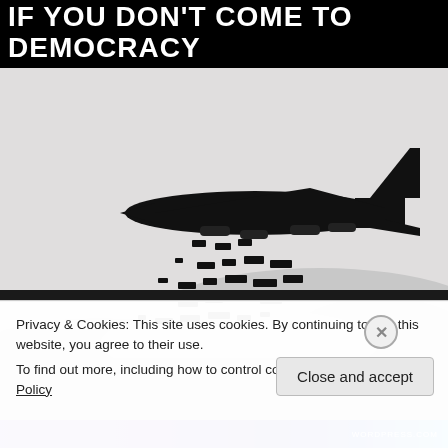IF YOU DON'T COME TO DEMOCRACY
[Figure (photo): Black and white photograph of a military bomber aircraft (B-52 style) in silhouette against a light sky, dropping numerous bombs that are scattered below it]
Privacy & Cookies: This site uses cookies. By continuing to use this website, you agree to their use.
To find out more, including how to control cookies, see here: Cookie Policy
Close and accept